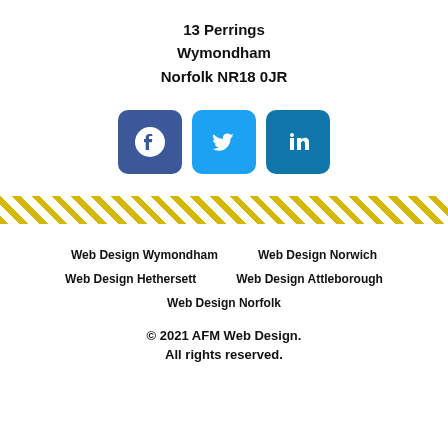13 Perrings
Wymondham
Norfolk NR18 0JR
[Figure (infographic): Three social media icon buttons: Facebook (dark blue), Twitter (light blue), LinkedIn (medium blue)]
[Figure (infographic): Diagonal yellow/gold stripe decorative band]
Web Design Wymondham
Web Design Norwich
Web Design Hethersett
Web Design Attleborough
Web Design Norfolk
© 2021 AFM Web Design. All rights reserved.